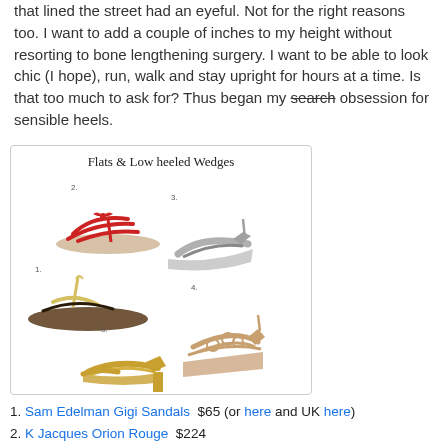that lined the street had an eyeful. Not for the right reasons too. I want to add a couple of inches to my height without resorting to bone lengthening surgery. I want to be able to look chic (I hope), run, walk and stay upright for hours at a time. Is that too much to ask for? Thus began my [strikethrough: search] obsession for sensible heels.
[Figure (illustration): Collage of flat sandals and low heeled wedges labeled 1-5, titled 'Flats & Low heeled Wedges' in handwriting style font]
1. Sam Edelman Gigi Sandals  $65 (or here and UK here)
2. K Jacques Orion Rouge  $224